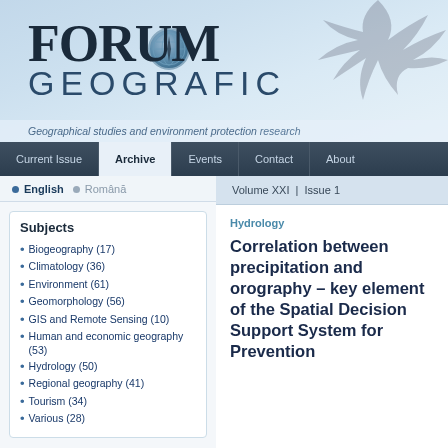[Figure (logo): Forum Geografic journal logo with globe icon and banner background showing winter tree branches]
Geographical studies and environment protection research
Current Issue | Archive | Events | Contact | About
English • Română
Subjects
Biogeography (17)
Climatology (36)
Environment (61)
Geomorphology (56)
GIS and Remote Sensing (10)
Human and economic geography (53)
Hydrology (50)
Regional geography (41)
Tourism (34)
Various (28)
Volume XXI | Issue 1
Hydrology
Correlation between precipitation and orography – key element of the Spatial Decision Support System for Prevention